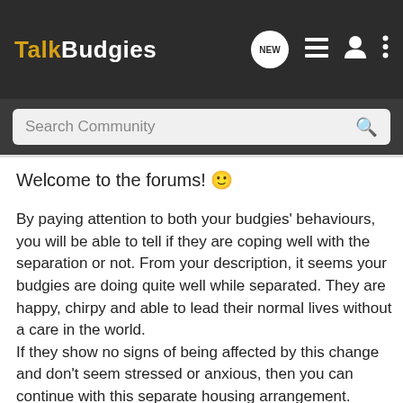TalkBudgies
Search Community
Welcome to the forums! 🙂
By paying attention to both your budgies' behaviours, you will be able to tell if they are coping well with the separation or not. From your description, it seems your budgies are doing quite well while separated. They are happy, chirpy and able to lead their normal lives without a care in the world.
If they show no signs of being affected by this change and don't seem stressed or anxious, then you can continue with this separate housing arrangement.
Since you mentioned your budgies argue quite a bit, maybe they are truly better off and happier by being housed on separate cages.
Whenever there is consistent, daily bullying, where the